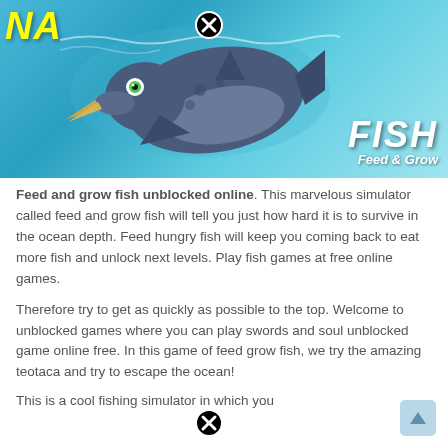[Figure (screenshot): Screenshot of Feed and Grow Fish game showing a narwhal underwater with ocean background, game logo 'FISH Feed & Grow' in bottom right, close button (X) at top center, and partial 'NA' text in yellow at top left]
Feed and grow fish unblocked online. This marvelous simulator called feed and grow fish will tell you just how hard it is to survive in the ocean depth. Feed hungry fish will keep you coming back to eat more fish and unlock next levels. Play fish games at free online games.
Therefore try to get as quickly as possible to the top. Welcome to unblocked games where you can play swords and soul unblocked game online free. In this game of feed grow fish, we try the amazing teotaca and try to escape the ocean!
This is a cool fishing simulator in which you